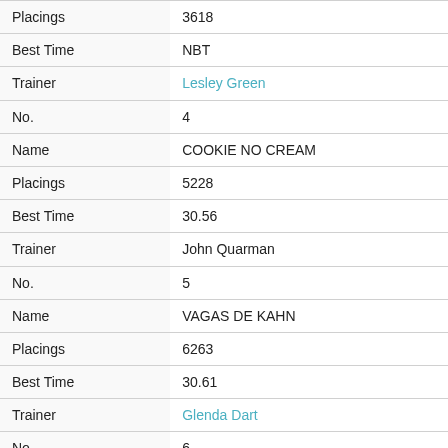| Field | Value |
| --- | --- |
| Placings | 3618 |
| Best Time | NBT |
| Trainer | Lesley Green |
| No. | 4 |
| Name | COOKIE NO CREAM |
| Placings | 5228 |
| Best Time | 30.56 |
| Trainer | John Quarman |
| No. | 5 |
| Name | VAGAS DE KAHN |
| Placings | 6263 |
| Best Time | 30.61 |
| Trainer | Glenda Dart |
| No. | 6 |
| Name | HARA'S STORM |
| Placings | 2413 |
| Best Time | NBT |